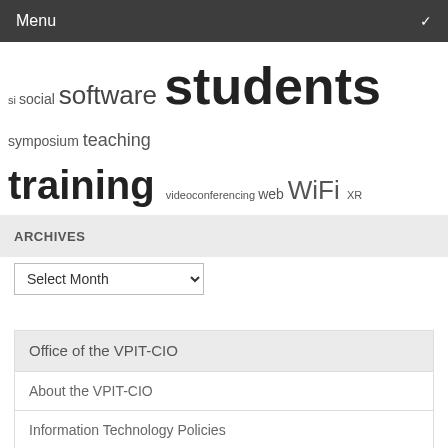Menu
si social software students symposium teaching training videoconferencing web WiFi XR
ARCHIVES
Select Month
Office of the VPIT-CIO
About the VPIT-CIO
Information Technology Policies
IT Strategy
IT Governance
Security & Privacy